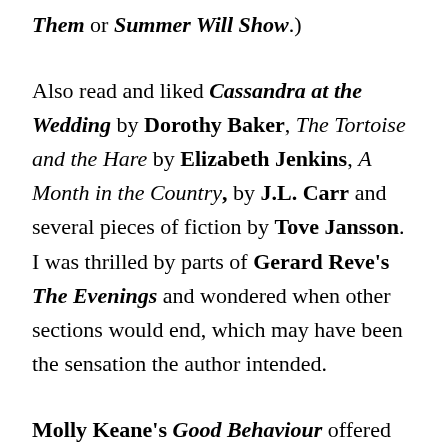Them or Summer Will Show.)
Also read and liked Cassandra at the Wedding by Dorothy Baker, The Tortoise and the Hare by Elizabeth Jenkins, A Month in the Country, by J.L. Carr and several pieces of fiction by Tove Jansson. I was thrilled by parts of Gerard Reve's The Evenings and wondered when other sections would end, which may have been the sensation the author intended.
Molly Keane's Good Behaviour offered an instructive counterpoint to Transit: annoying characters, obsessive conduct, and an ending that